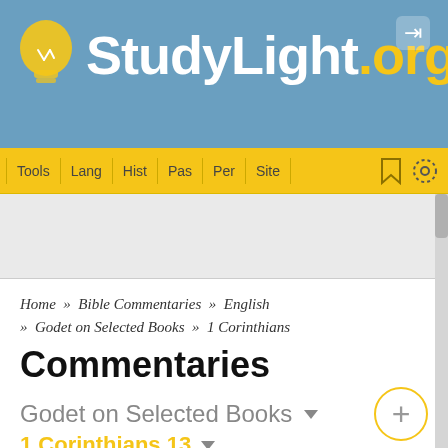[Figure (screenshot): StudyLight.org website header with blue background showing logo]
StudyLight.org
[Figure (infographic): Navigation bar with Tools, Lang, Hist, Pas, Per, Site links on yellow background]
Home » Bible Commentaries » English » Godet on Selected Books » 1 Corinthians
Commentaries
Godet on Selected Books
1 Corinthians 13
[Figure (screenshot): Ads Free button in red, and partial content box at bottom]